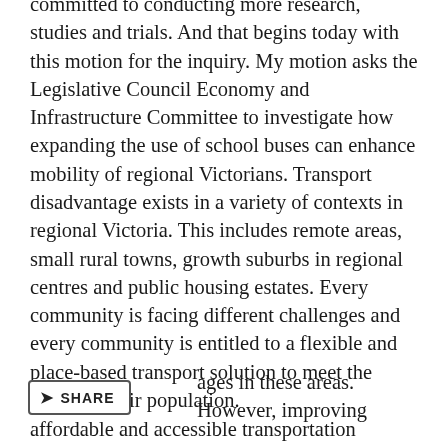committed to conducting more research, studies and trials. And that begins today with this motion for the inquiry. My motion asks the Legislative Council Economy and Infrastructure Committee to investigate how expanding the use of school buses can enhance mobility of regional Victorians. Transport disadvantage exists in a variety of contexts in regional Victoria. This includes remote areas, small rural towns, growth suburbs in regional centres and public housing estates. Every community is facing different challenges and every community is entitled to a flexible and place-based transport solution to meet the needs of their population.
Transport is not the entire solution to [disadvantages] in these areas. However, improving affordable and accessible transportation